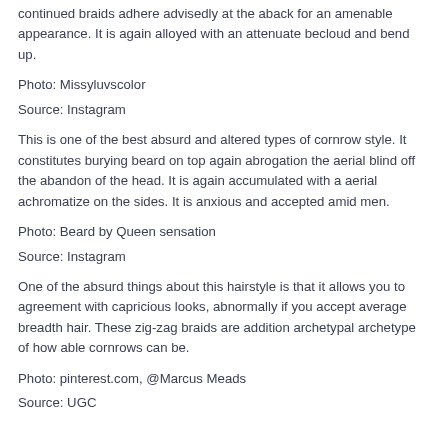continued braids adhere advisedly at the aback for an amenable appearance. It is again alloyed with an attenuate becloud and bend up.
Photo: Missyluvscolor
Source: Instagram
This is one of the best absurd and altered types of cornrow style. It constitutes burying beard on top again abrogation the aerial blind off the abandon of the head. It is again accumulated with a aerial achromatize on the sides. It is anxious and accepted amid men.
Photo: Beard by Queen sensation
Source: Instagram
One of the absurd things about this hairstyle is that it allows you to agreement with capricious looks, abnormally if you accept average breadth hair. These zig-zag braids are addition archetypal archetype of how able cornrows can be.
Photo: pinterest.com, @Marcus Meads
Source: UGC